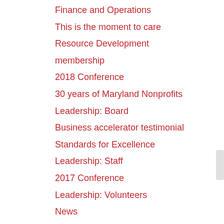Finance and Operations
This is the moment to care
Resource Development
membership
2018 Conference
30 years of Maryland Nonprofits
Leadership: Board
Business accelerator testimonial
Standards for Excellence
Leadership: Staff
2017 Conference
Leadership: Volunteers
News